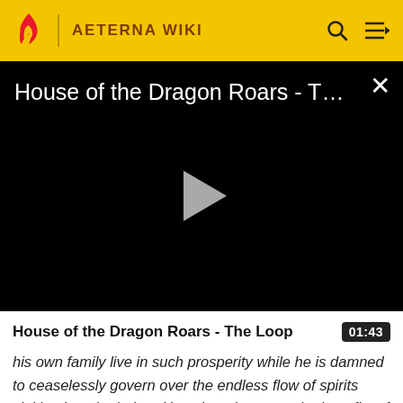AETERNA WIKI
[Figure (screenshot): Video player with black background showing title 'House of the Dragon Roars - The L...' with a play button and close X button]
House of the Dragon Roars - The Loop
his own family live in such prosperity while he is damned to ceaselessly govern over the endless flow of spirits sinking into the below. How dare they reap the benefits of